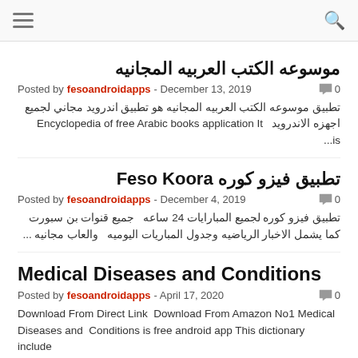[hamburger menu] [search icon]
موسوعه الكتب العربيه المجانيه
Posted by fesoandroidapps - December 13, 2019   💬 0
تطبيق موسوعه الكتب العربيه المجانيه هو تطبيق اندرويد مجاني لجميع اجهزه الاندرويد  Encyclopedia of free Arabic books application It is...
تطبيق فيزو كوره Feso Koora
Posted by fesoandroidapps - December 4, 2019   💬 0
تطبيق فيزو كوره لجميع المبارايات 24 ساعه  جميع قنوات بن سبورت كما يشمل الاخبار الرياضيه وجدول المباريات اليوميه  والعاب مجانيه ...
Medical Diseases and Conditions
Posted by fesoandroidapps - April 17, 2020   💬 0
Download From Direct Link Download From Amazon No1 Medical Diseases and  Conditions is free android app This dictionary include